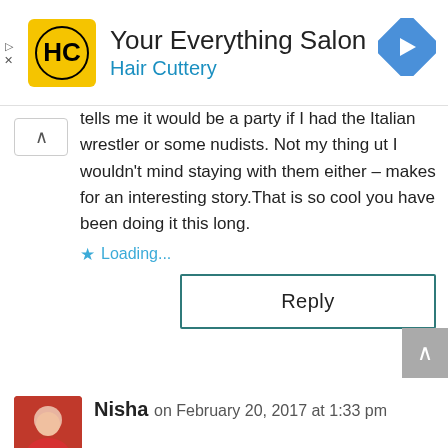[Figure (logo): Hair Cuttery advertisement banner with yellow HC logo, text 'Your Everything Salon' and 'Hair Cuttery' in blue, and a blue navigation arrow icon on the right]
tells me it would be a party if I had the Italian wrestler or some nudists. Not my thing ut I wouldn't mind staying with them either – makes for an interesting story.That is so cool you have been doing it this long.
Loading...
Reply
Nisha on February 20, 2017 at 1:33 pm
That's a great post! really a complete guide. I have been thinking of becoming a couch surfing host. It's such a nice way to meet people and learn about their culture.